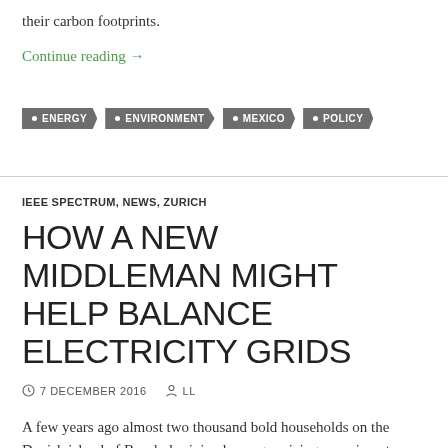their carbon footprints.
Continue reading →
ENERGY
ENVIRONMENT
MEXICO
POLICY
IEEE SPECTRUM, NEWS, ZURICH
HOW A NEW MIDDLEMAN MIGHT HELP BALANCE ELECTRICITY GRIDS
7 DECEMBER 2016   LL
A few years ago almost two thousand bold households on the Danish island of Bornholm joined a surge pricing experiment